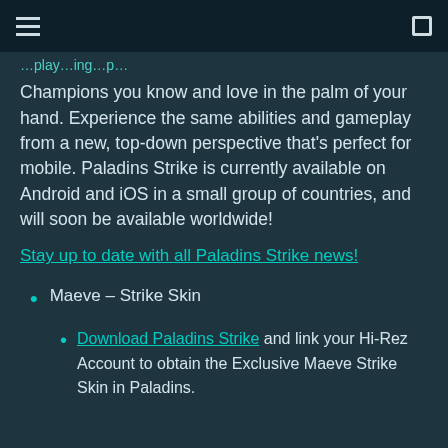Champions you know and love in the palm of your hand. Experience the same abilities and gameplay from a new, top-down perspective that's perfect for mobile. Paladins Strike is currently available on Android and iOS in a small group of countries, and will soon be available worldwide!
Stay up to date with all Paladins Strike news!
Maeve – Strike Skin
Download Paladins Strike and link your Hi-Rez Account to obtain the Exclusive Maeve Strike Skin in Paladins.